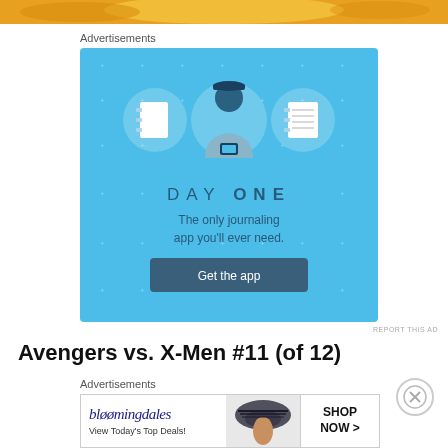[Figure (illustration): Top decorative strip with food/pastry imagery in golden/orange tones]
Advertisements
[Figure (screenshot): Day One journaling app advertisement on blue background with three icons (notebook, person with phone, notebook with lines), brand name DAY ONE, tagline 'The only journaling app you'll ever need.' and a 'Get the app' button]
REPORT THIS AD
Avengers vs. X-Men #11 (of 12)
Advertisements
[Figure (screenshot): Bloomingdales advertisement banner with logo 'bloomingdales', tagline 'View Today's Top Deals!', image of woman in wide-brim hat, and 'SHOP NOW >' button]